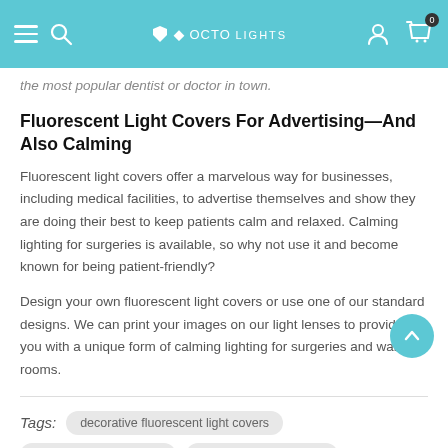OCTO LIGHTS
the most popular dentist or doctor in town.
Fluorescent Light Covers For Advertising—And Also Calming
Fluorescent light covers offer a marvelous way for businesses, including medical facilities, to advertise themselves and show they are doing their best to keep patients calm and relaxed. Calming lighting for surgeries is available, so why not use it and become known for being patient-friendly?
Design your own fluorescent light covers or use one of our standard designs. We can print your images on our light lenses to provide you with a unique form of calming lighting for surgeries and waiting rooms.
Tags: decorative fluorescent light covers
fluorescent light covers   decorative light covers